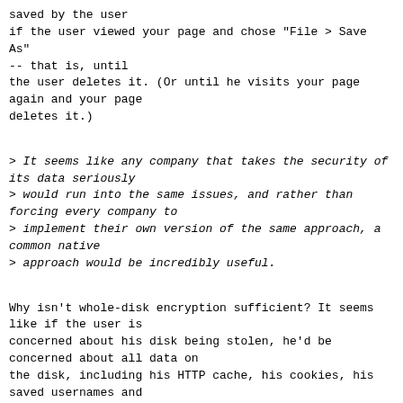saved by the user
if the user viewed your page and chose "File > Save As"
-- that is, until
the user deletes it. (Or until he visits your page
again and your page
deletes it.)
> It seems like any company that takes the security of its data seriously
> would run into the same issues, and rather than forcing every company to
> implement their own version of the same approach, a common native
> approach would be incredibly useful.
Why isn't whole-disk encryption sufficient? It seems like if the user is
concerned about his disk being stolen, he'd be concerned about all data on
the disk, including his HTTP cache, his cookies, his saved usernames and
passwords, etc, not just the data in the Web page's localStorage area.
On Tue, 30 Mar 2010, Dirk Pranke wrote:
>
> Nicholas is almost certainly discussing the case where the service
> provider requires any data stored on a customer's